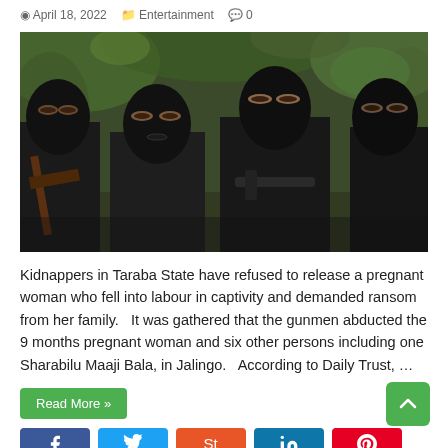April 18, 2022   Entertainment   0
[Figure (photo): Four armed men wearing black balaclavas and dark clothing, posing in a wooded area. One is holding a rifle. The image appears to be related to kidnapping/armed group news coverage.]
Kidnappers in Taraba State have refused to release a pregnant woman who fell into labour in captivity and demanded ransom from her family.   It was gathered that the gunmen abducted the 9 months pregnant woman and six other persons including one Sharabilu Maaji Bala, in Jalingo.   According to Daily Trust, …
Read More »